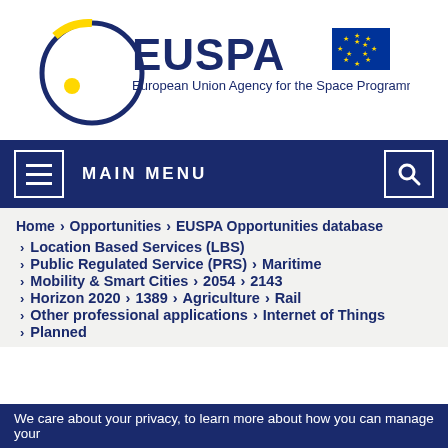[Figure (logo): EUSPA logo with circular blue/yellow emblem and EU flag. Text: European Union Agency for the Space Programme]
MAIN MENU
Home > Opportunities > EUSPA Opportunities database
> Location Based Services (LBS)
> Public Regulated Service (PRS) > Maritime
> Mobility & Smart Cities > 2054 > 2143
> Horizon 2020 > 1389 > Agriculture > Rail
> Other professional applications > Internet of Things
> Planned
We care about your privacy, to learn more about how you can manage your